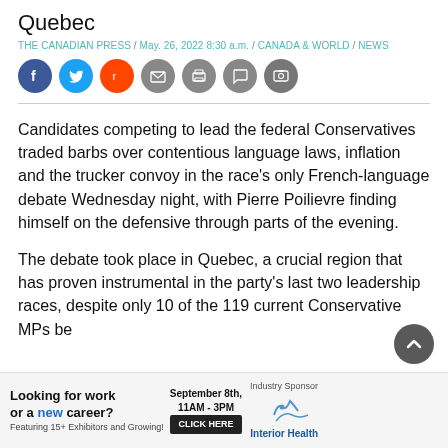Quebec
THE CANADIAN PRESS / May. 26, 2022 8:30 a.m. / CANADA & WORLD / NEWS
[Figure (infographic): Social sharing icons: Facebook (blue), Twitter (light blue), Reddit (orange), Email (grey), Print (grey), Comment (grey), Photo gallery (grey)]
Candidates competing to lead the federal Conservatives traded barbs over contentious language laws, inflation and the trucker convoy in the race's only French-language debate Wednesday night, with Pierre Poilievre finding himself on the defensive through parts of the evening.
The debate took place in Quebec, a crucial region that has proven instrumental in the party's last two leadership races, despite only 10 of the 119 current Conservative MPs be
[Figure (infographic): Advertisement banner: 'Looking for work or a new career? Featuring 15+ Exhibitors and Growing! September 8th, 11AM-3PM CLICK HERE Industry Sponsor Interior Health']